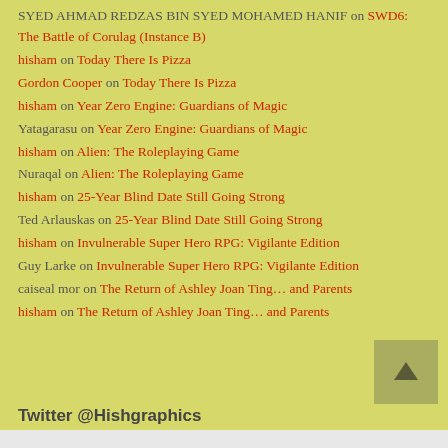SYED AHMAD REDZAS BIN SYED MOHAMED HANIF on SWD6: The Battle of Corulag (Instance B)
hisham on Today There Is Pizza
Gordon Cooper on Today There Is Pizza
hisham on Year Zero Engine: Guardians of Magic
Yatagarasu on Year Zero Engine: Guardians of Magic
hisham on Alien: The Roleplaying Game
Nuraqal on Alien: The Roleplaying Game
hisham on 25-Year Blind Date Still Going Strong
Ted Arlauskas on 25-Year Blind Date Still Going Strong
hisham on Invulnerable Super Hero RPG: Vigilante Edition
Guy Larke on Invulnerable Super Hero RPG: Vigilante Edition
caiseal mor on The Return of Ashley Joan Ting… and Parents
hisham on The Return of Ashley Joan Ting… and Parents
Twitter @Hishgraphics